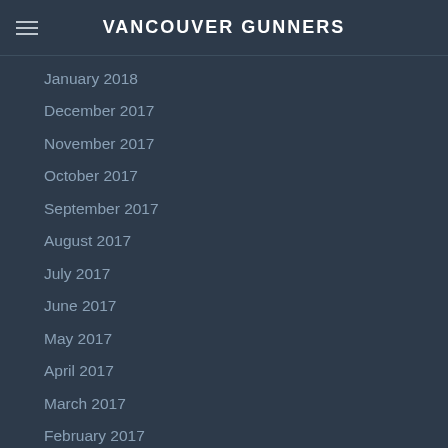VANCOUVER GUNNERS
January 2018
December 2017
November 2017
October 2017
September 2017
August 2017
July 2017
June 2017
May 2017
April 2017
March 2017
February 2017
January 2017
December 2016
November 2016
October 2016
September 2016
August 2016
July 2016
June 2016